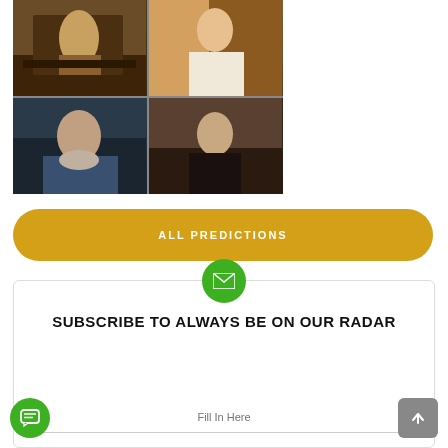[Figure (photo): 2x2 collage grid of movie stills: top-left shows a man near a piano, top-right shows a woman in light clothing, bottom-left shows an elderly man in a blue blazer, bottom-right shows an elderly woman in dark clothing]
ALL PREDICTIONS
SUBSCRIBE TO ALWAYS BE ON OUR RADAR
Fill In Here